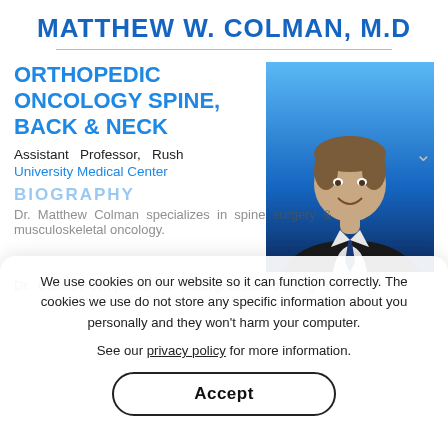MATTHEW W. COLMAN, M.D
ORTHOPEDIC ONCOLOGY SPINE, BACK & NECK
[Figure (photo): Professional headshot of Dr. Matthew W. Colman in a dark suit with blue tie against a blue background]
Assistant Professor, Rush University Medical Center
BIOGRAPHY
Dr. Matthew Colman specializes in spine surgery & musculoskeletal oncology.
Dr. Colman completed his undergraduate training and
We use cookies on our website so it can function correctly. The cookies we use do not store any specific information about you personally and they won't harm your computer.

See our privacy policy for more information.
Accept